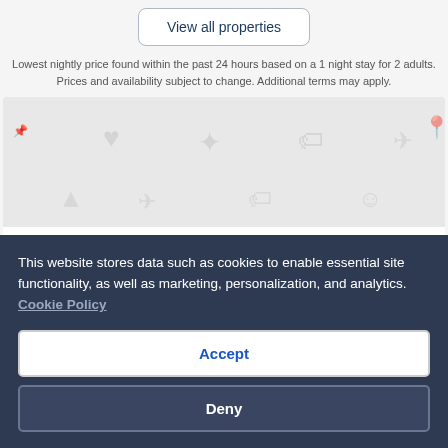View all properties
Lowest nightly price found within the past 24 hours based on a 1 night stay for 2 adults. Prices and availability subject to change. Additional terms may apply.
[Figure (map): Map of hotels in Pommard with travel icons on a light grey background]
View map
This website stores data such as cookies to enable essential site functionality, as well as marketing, personalization, and analytics. Cookie Policy
Accept
Deny